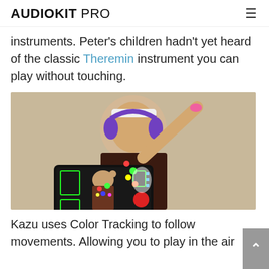AUDIOKIT PRO
instruments. Peter's children hadn't yet heard of the classic Theremin instrument you can play without touching.
[Figure (photo): Person wearing purple headphones holding up one hand, holding a smartphone in landscape orientation showing a color-tracking app with green rectangles and colored dots overlaid on a camera view of themselves.]
Kazu uses Color Tracking to follow movements. Allowing you to play in the air